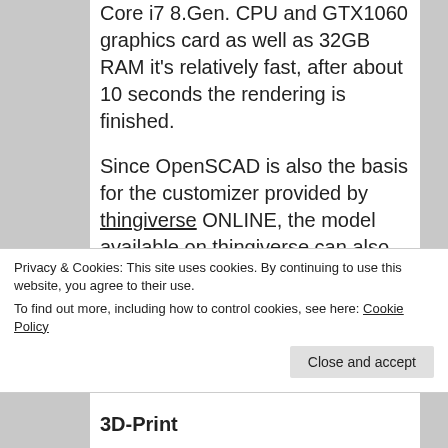Core i7 8.Gen. CPU and GTX1060 graphics card as well as 32GB RAM it's relatively fast, after about 10 seconds the rendering is finished.

Since OpenSCAD is also the basis for the customizer provided by thingiverse ONLINE, the model available on thingiverse can also be configured directly online on thingiverse.com. However, I only use OpenSCAD locally on the PC for the corresponding OpenSCAD models,
Privacy & Cookies: This site uses cookies. By continuing to use this website, you agree to their use.
To find out more, including how to control cookies, see here: Cookie Policy
3D-Print